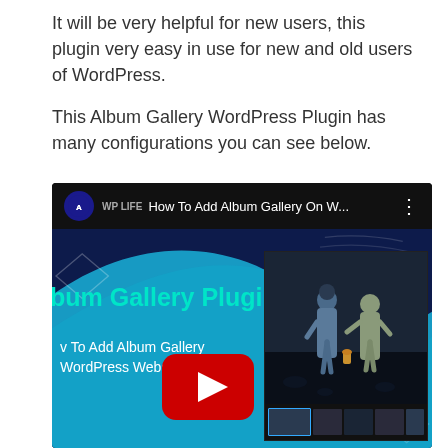It will be very helpful for new users, this plugin very easy in use for new and old users of WordPress.

This Album Gallery WordPress Plugin has many configurations you can see below.
[Figure (screenshot): YouTube video thumbnail showing 'How To Add Album Gallery On W...' by WP Life channel. The thumbnail displays text 'Album Gallery Plugin' and 'How To Add Album Gallery WordPress Website' on a dark blue and cyan background, with a red YouTube play button in the center, and a photo of two children on the right side.]